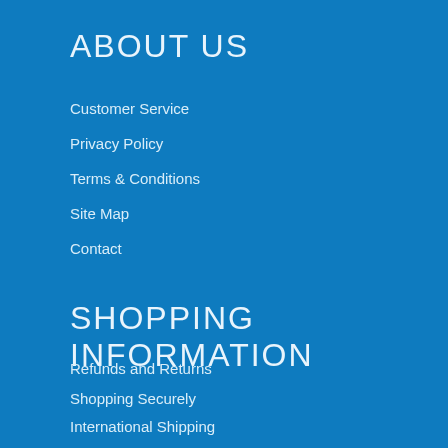ABOUT US
Customer Service
Privacy Policy
Terms & Conditions
Site Map
Contact
SHOPPING INFORMATION
Refunds and Returns
Shopping Securely
International Shipping
Ingredients / Allergies